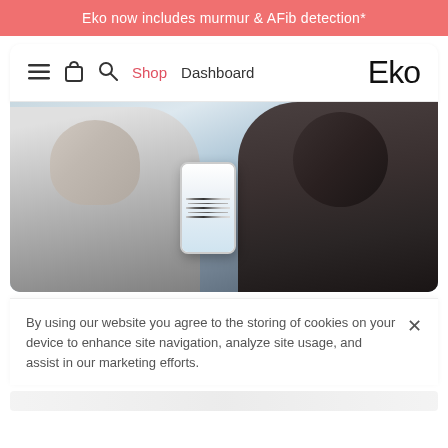Eko now includes murmur & AFib detection*
[Figure (screenshot): Navigation bar with hamburger menu icon, shopping bag icon, search icon, Shop (in red/coral) and Dashboard links on left, and the Eko logo on the right]
[Figure (photo): A doctor wearing a stethoscope and white coat holds a smartphone showing ECG/heart data while examining a patient who is a bearded Black man in a plaid shirt. Mountains visible in background.]
By using our website you agree to the storing of cookies on your device to enhance site navigation, analyze site usage, and assist in our marketing efforts.